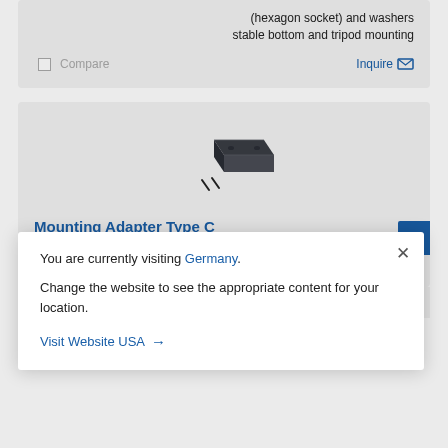(hexagon socket) and washers
stable bottom and tripod mounting
Compare
Inquire
[Figure (photo): Mounting Adapter Type C product photo showing a small dark rectangular adapter with two screws]
Mounting Adapter Type C
Article no.: 11053252
Overview   camera mounting adapter for TX, Visil inc. Visil in
You are currently visiting Germany. Change the website to see the appropriate content for your location.
Visit Website USA →
Compare
Inquire